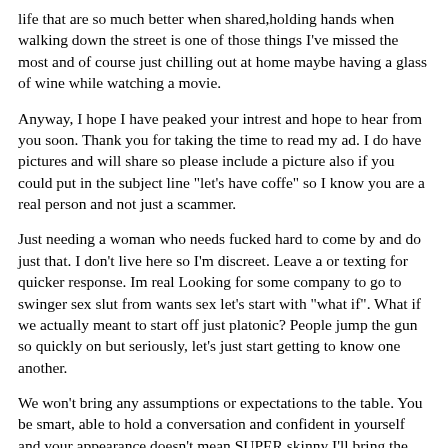life that are so much better when shared,holding hands when walking down the street is one of those things I've missed the most and of course just chilling out at home maybe having a glass of wine while watching a movie.
Anyway, I hope I have peaked your intrest and hope to hear from you soon. Thank you for taking the time to read my ad. I do have pictures and will share so please include a picture also if you could put in the subject line "let's have coffe" so I know you are a real person and not just a scammer.
Just needing a woman who needs fucked hard to come by and do just that. I don't live here so I'm discreet. Leave a or texting for quicker response. Im real Looking for some company to go to swinger sex slut from wants sex let's start with "what if". What if we actually meant to start off just platonic? People jump the gun so quickly on but seriously, let's just start getting to know one another.
We won't bring any assumptions or expectations to the table. You be smart, able to hold a conversation and confident in yourself and your appearance doesn't mean SUPER skinny I'll bring the same. I'm sane yes, even onintelligent, a great holder of conversations and been told at least once in my life by a woman other than my mother that I'm handsome.
You could be married. You could be separated. Basically, what is i